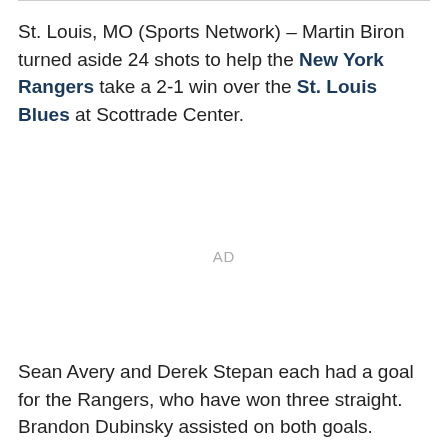St. Louis, MO (Sports Network) – Martin Biron turned aside 24 shots to help the New York Rangers take a 2-1 win over the St. Louis Blues at Scottrade Center.
AD
Sean Avery and Derek Stepan each had a goal for the Rangers, who have won three straight. Brandon Dubinsky assisted on both goals.